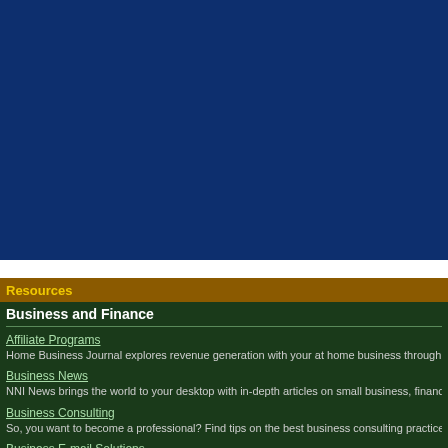[Figure (other): Large dark navy blue banner/header area]
Resources
Business and Finance
Affiliate Programs
Home Business Journal explores revenue generation with your at home business through affiliate pro
Business News
NNI News brings the world to your desktop with in-depth articles on small business, finance, fraud pr
Business Consulting
So, you want to become a professional? Find tips on the best business consulting practices and lear
Business E-mail Solutions
Email offers an incredible marketing opportunity for your business. Where does something so si